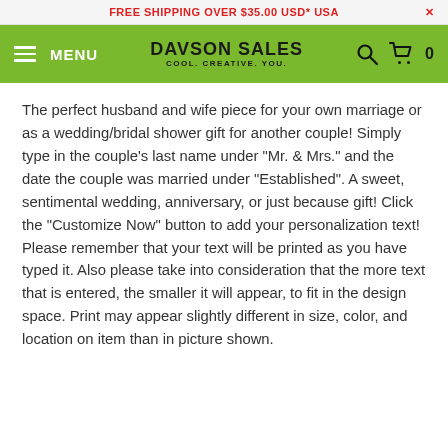FREE SHIPPING OVER $35.00 USD* USA
[Figure (screenshot): Davson Sales navigation bar with hamburger menu, logo reading 'DAVSON SALES COOL. CREATIVE. YOU.', search icon, cart icon, and 0 item count]
The perfect husband and wife piece for your own marriage or as a wedding/bridal shower gift for another couple! Simply type in the couple's last name under "Mr. & Mrs." and the date the couple was married under "Established". A sweet, sentimental wedding, anniversary, or just because gift! Click the "Customize Now" button to add your personalization text! Please remember that your text will be printed as you have typed it. Also please take into consideration that the more text that is entered, the smaller it will appear, to fit in the design space. Print may appear slightly different in size, color, and location on item than in picture shown.